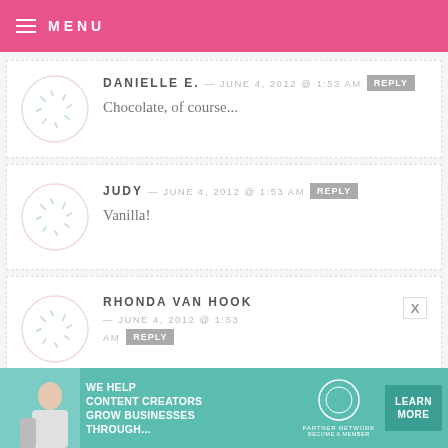MENU
DANIELLE E. — JUNE 4, 2012 @ 1:53 AM  REPLY
Chocolate, of course...
JUDY — JUNE 4, 2012 @ 1:53 AM  REPLY
Vanilla!
RHONDA VAN HOOK — JUNE 4, 2012 @ 1:53 AM  REPLY
[Figure (infographic): SHE Media Partner Network advertisement banner with photo of woman and Learn More button]